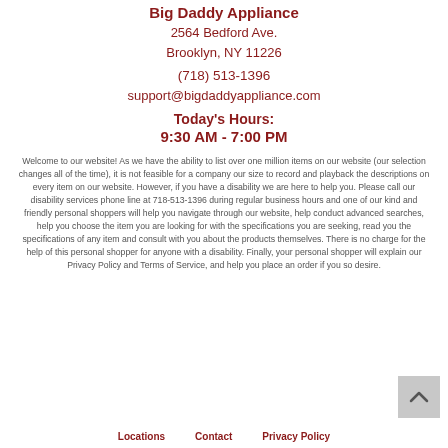Big Daddy Appliance
2564 Bedford Ave.
Brooklyn, NY 11226
(718) 513-1396
support@bigdaddyappliance.com
Today's Hours:
9:30 AM - 7:00 PM
Welcome to our website! As we have the ability to list over one million items on our website (our selection changes all of the time), it is not feasible for a company our size to record and playback the descriptions on every item on our website. However, if you have a disability we are here to help you. Please call our disability services phone line at 718-513-1396 during regular business hours and one of our kind and friendly personal shoppers will help you navigate through our website, help conduct advanced searches, help you choose the item you are looking for with the specifications you are seeking, read you the specifications of any item and consult with you about the products themselves. There is no charge for the help of this personal shopper for anyone with a disability. Finally, your personal shopper will explain our Privacy Policy and Terms of Service, and help you place an order if you so desire.
Locations    Contact    Privacy Policy